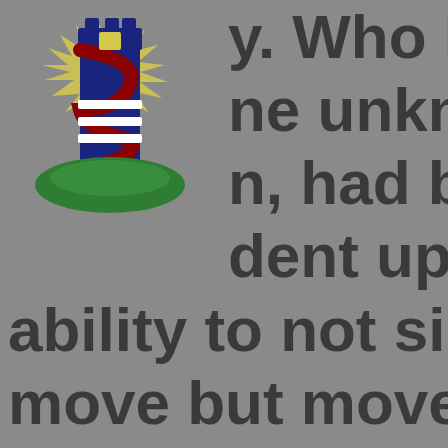[Figure (logo): A shield/crest logo featuring a dark blue lighthouse tower with a red spiral stripe, yellow star-burst light rays emanating from top, a green base/hill, and three horizontal white lines on the middle of the shield.]
y. Who I was, me unknown n, had become dent upon my ability to not simply move but move my self. Had my legs actually become such an integral